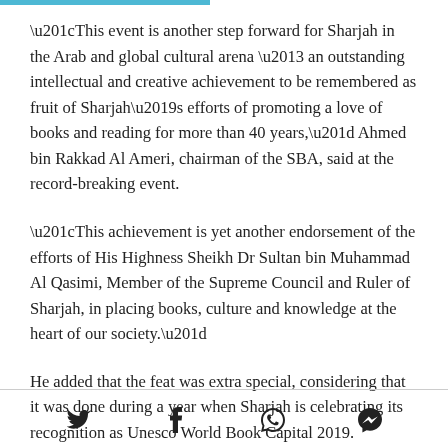“This event is another step forward for Sharjah in the Arab and global cultural arena – an outstanding intellectual and creative achievement to be remembered as fruit of Sharjah’s efforts of promoting a love of books and reading for more than 40 years,” Ahmed bin Rakkad Al Ameri, chairman of the SBA, said at the record-breaking event.
“This achievement is yet another endorsement of the efforts of His Highness Sheikh Dr Sultan bin Muhammad Al Qasimi, Member of the Supreme Council and Ruler of Sharjah, in placing books, culture and knowledge at the heart of our society.”
He added that the feat was extra special, considering that it was done during a year when Sharjah is celebrating its recognition as Unesco World Book Capital 2019.
[social icons: Twitter, Facebook, WhatsApp, Messenger]